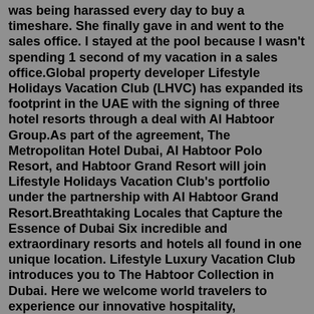was being harassed every day to buy a timeshare. She finally gave in and went to the sales office. I stayed at the pool because I wasn't spending 1 second of my vacation in a sales office.Global property developer Lifestyle Holidays Vacation Club (LHVC) has expanded its footprint in the UAE with the signing of three hotel resorts through a deal with Al Habtoor Group.As part of the agreement, The Metropolitan Hotel Dubai, Al Habtoor Polo Resort, and Habtoor Grand Resort will join Lifestyle Holidays Vacation Club's portfolio under the partnership with Al Habtoor Grand Resort.Breathtaking Locales that Capture the Essence of Dubai Six incredible and extraordinary resorts and hotels all found in one unique location. Lifestyle Luxury Vacation Club introduces you to The Habtoor Collection in Dubai. Here we welcome world travelers to experience our innovative hospitality, sophisticated style, and exceptional service.Six incredible and extraordinary resorts and hotels all found in one unique location.